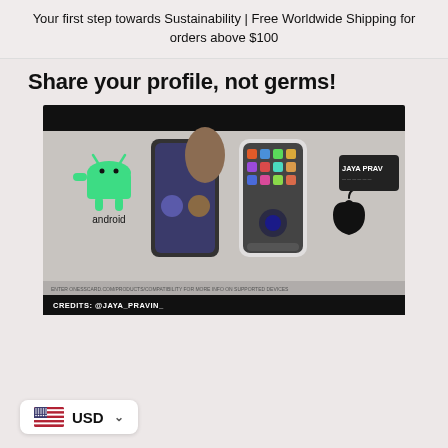Your first step towards Sustainability | Free Worldwide Shipping for orders above $100
Share your profile, not germs!
[Figure (screenshot): Video thumbnail showing two smartphones (Android and iPhone) side by side with an NFC business card branded JAYA PRAVIN. Android logo in green shown on left. Apple logo shown on right. Credits: @JAYA_PRAVIN_ at the bottom.]
USD ∨